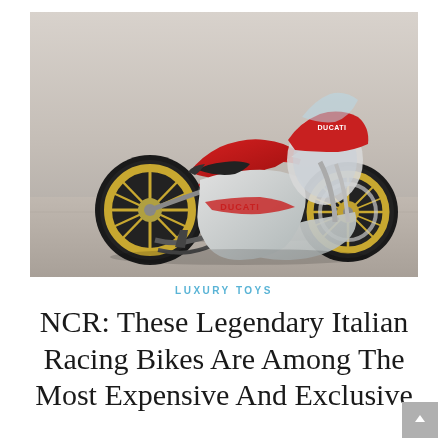[Figure (photo): A red and silver Ducati NCR vintage racing motorcycle photographed in a studio setting against a light gray background. The bike features gold-colored spoke wheels, a full racing fairing with Ducati branding, a black seat, and exposed mechanical components.]
LUXURY TOYS
NCR: These Legendary Italian Racing Bikes Are Among The Most Expensive And Exclusive